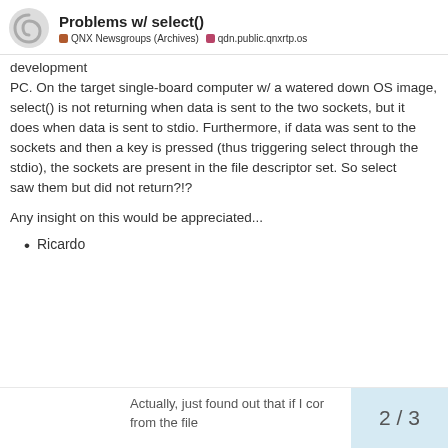Problems w/ select()
development
PC. On the target single-board computer w/ a watered down OS image,
select() is not returning when data is sent to the two sockets, but it
does when data is sent to stdio. Furthermore, if data was sent to the
sockets and then a key is pressed (thus triggering select through the
stdio), the sockets are present in the file descriptor set. So select
saw them but did not return?!?
Any insight on this would be appreciated...
Ricardo
Actually, just found out that if I cor from the file
2 / 3